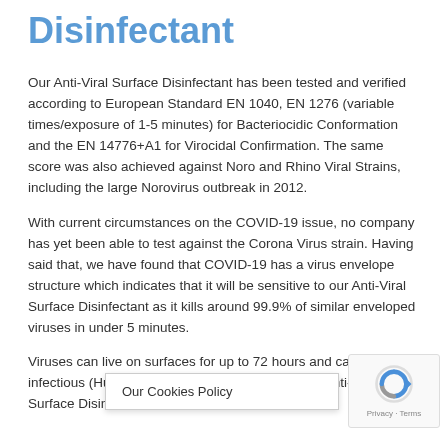Disinfectant
Our Anti-Viral Surface Disinfectant has been tested and verified according to European Standard EN 1040, EN 1276 (variable times/exposure of 1-5 minutes) for Bacteriocidic Conformation and the EN 14776+A1 for Virocidal Confirmation. The same score was also achieved against Noro and Rhino Viral Strains, including the large Norovirus outbreak in 2012.
With current circumstances on the COVID-19 issue, no company has yet been able to test against the Corona Virus strain. Having said that, we have found that COVID-19 has a virus envelope structure which indicates that it will be sensitive to our Anti-Viral Surface Disinfectant as it kills around 99.9% of similar enveloped viruses in under 5 minutes.
Viruses can live on surfaces for up to 72 hours and can be highly infectious (Hulkower et al). use Anti-Viral Surface Disinfectant abilities this